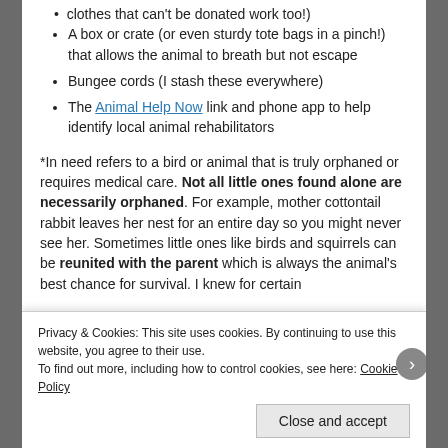clothes that can't be donated work too!)
A box or crate (or even sturdy tote bags in a pinch!) that allows the animal to breath but not escape
Bungee cords (I stash these everywhere)
The Animal Help Now link and phone app to help identify local animal rehabilitators
*In need refers to a bird or animal that is truly orphaned or requires medical care. Not all little ones found alone are necessarily orphaned. For example, mother cottontail rabbit leaves her nest for an entire day so you might never see her. Sometimes little ones like birds and squirrels can be reunited with the parent which is always the animal's best chance for survival. I knew for certain
Privacy & Cookies: This site uses cookies. By continuing to use this website, you agree to their use.
To find out more, including how to control cookies, see here: Cookie Policy
Close and accept